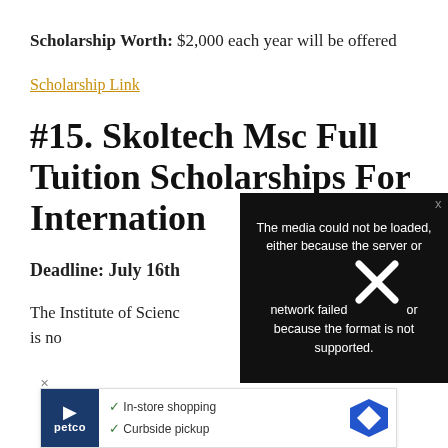Scholarship Worth: $2,000 each year will be offered
Scholarship Link
#15. Skoltech Msc Full Tuition Scholarships For International
Deadline: July 16th
The Institute of Scienc... is no... scho... local